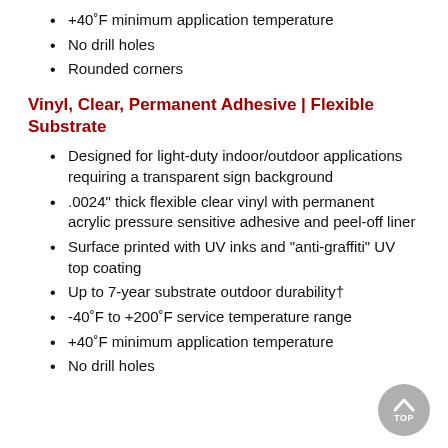+40˚F minimum application temperature
No drill holes
Rounded corners
Vinyl, Clear, Permanent Adhesive | Flexible Substrate
Designed for light-duty indoor/outdoor applications requiring a transparent sign background
.0024" thick flexible clear vinyl with permanent acrylic pressure sensitive adhesive and peel-off liner
Surface printed with UV inks and "anti-graffiti" UV top coating
Up to 7-year substrate outdoor durability†
-40˚F to +200˚F service temperature range
+40˚F minimum application temperature
No drill holes